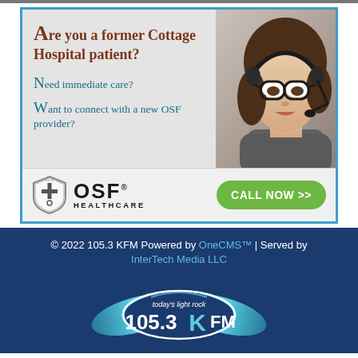[Figure (infographic): OSF HealthCare advertisement: 'Are you a former Cottage Hospital patient? Need immediate care? Want to connect with a new OSF provider?' with a photo of a woman wearing a headset and glasses, OSF HealthCare logo, and a green 'CALL NOW >>' button]
© 2022 105.3 KFM Powered by OneCMS™ | Served by InterTech Media LLC
[Figure (logo): 105.3 KFM radio station logo with tagline 'today's light rock' on a dark blue background with teal swoosh graphics]